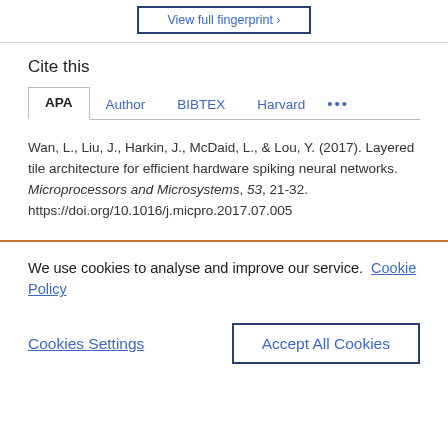[Figure (other): View full fingerprint button with border]
Cite this
APA | Author | BIBTEX | Harvard | ...
Wan, L., Liu, J., Harkin, J., McDaid, L., & Lou, Y. (2017). Layered tile architecture for efficient hardware spiking neural networks. Microprocessors and Microsystems, 53, 21-32. https://doi.org/10.1016/j.micpro.2017.07.005
We use cookies to analyse and improve our service. Cookie Policy
Cookies Settings
Accept All Cookies